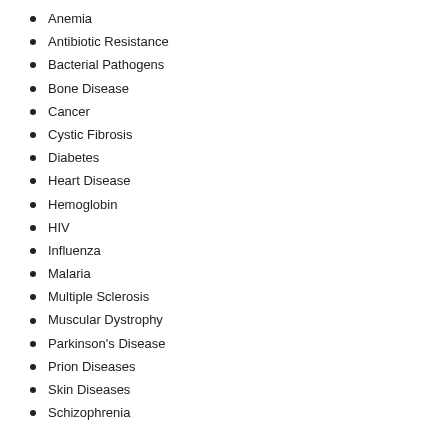Anemia
Antibiotic Resistance
Bacterial Pathogens
Bone Disease
Cancer
Cystic Fibrosis
Diabetes
Heart Disease
Hemoglobin
HIV
Influenza
Malaria
Multiple Sclerosis
Muscular Dystrophy
Parkinson's Disease
Prion Diseases
Skin Diseases
Schizophrenia